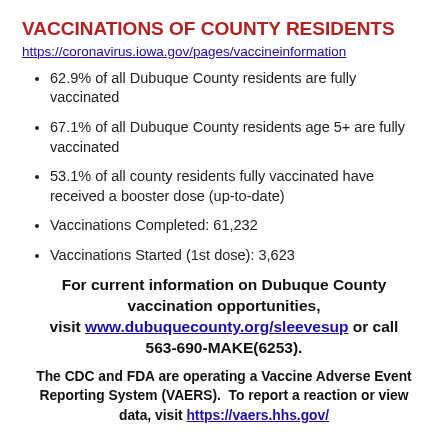VACCINATIONS OF COUNTY RESIDENTS
https://coronavirus.iowa.gov/pages/vaccineinformation
62.9% of all Dubuque County residents are fully vaccinated
67.1% of all Dubuque County residents age 5+ are fully vaccinated
53.1% of all county residents fully vaccinated have received a booster dose (up-to-date)
Vaccinations Completed: 61,232
Vaccinations Started (1st dose): 3,623
For current information on Dubuque County vaccination opportunities, visit www.dubuquecounty.org/sleevesup or call 563-690-MAKE(6253).
The CDC and FDA are operating a Vaccine Adverse Event Reporting System (VAERS).  To report a reaction or view data, visit https://vaers.hhs.gov/